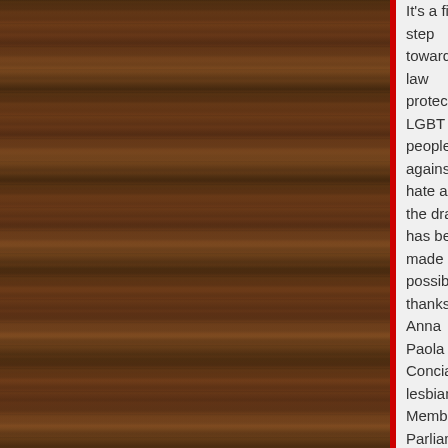[Figure (photo): Dark wood panel background on the left side of the page]
It's a first step towards a law protecting LGBT people against hate and the draft has been made possible thanks to Anna Paola Concia, a lesbian Member of Parliament (MP).
[Figure (photo): Photo of what appears to be an Italian parliament session, showing rows of people in a legislative chamber]
The Italian left has been trying to approve a bill against homophob... the law Mancino, which protects the Italia...
Concia said: 'The draft has been possible... Valori party. This is the third time, during...
Federico Palomba MP wrote the draft. He... parliament. The draft has to be discussed...
Italy lacks a law protecting LGBT people... the Justice Commission, formed of a sma...
Palomba added: 'The commission has do... commission will support the draft in front...
Last year, leading LGBT association Arci... Italy.